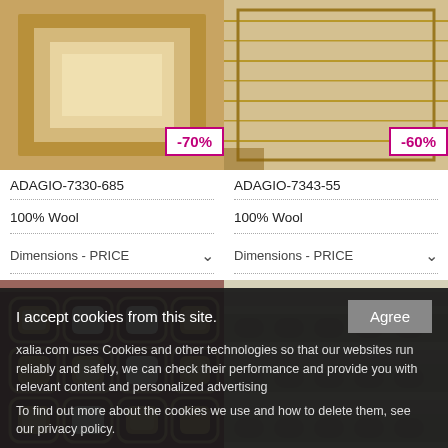[Figure (photo): Rug product photo for ADAGIO-7330-685 with -70% discount badge]
[Figure (photo): Rug product photo for ADAGIO-7343-55 with -60% discount badge]
ADAGIO-7330-685
ADAGIO-7343-55
100% Wool
100% Wool
Dimensions - PRICE
Dimensions - PRICE
[Figure (photo): Rug product photo with dark red/maroon background and geometric square pattern]
[Figure (photo): Rug product photo with beige/green textured stripe pattern]
I accept cookies from this site.
xalia.com uses Cookies and other technologies so that our websites run reliably and safely, we can check their performance and provide you with relevant content and personalized advertising
To find out more about the cookies we use and how to delete them, see our privacy policy.